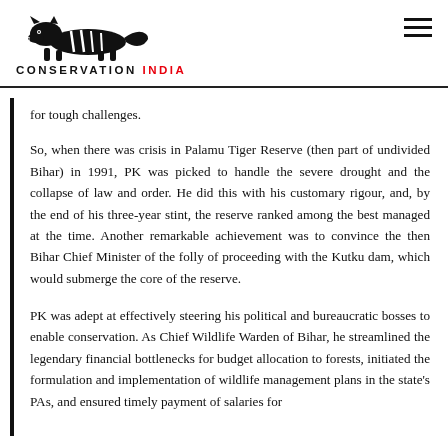CONSERVATION INDIA
for tough challenges.
So, when there was crisis in Palamu Tiger Reserve (then part of undivided Bihar) in 1991, PK was picked to handle the severe drought and the collapse of law and order. He did this with his customary rigour, and, by the end of his three-year stint, the reserve ranked among the best managed at the time. Another remarkable achievement was to convince the then Bihar Chief Minister of the folly of proceeding with the Kutku dam, which would submerge the core of the reserve.
PK was adept at effectively steering his political and bureaucratic bosses to enable conservation. As Chief Wildlife Warden of Bihar, he streamlined the legendary financial bottlenecks for budget allocation to forests, initiated the formulation and implementation of wildlife management plans in the state's PAs, and ensured timely payment of salaries for